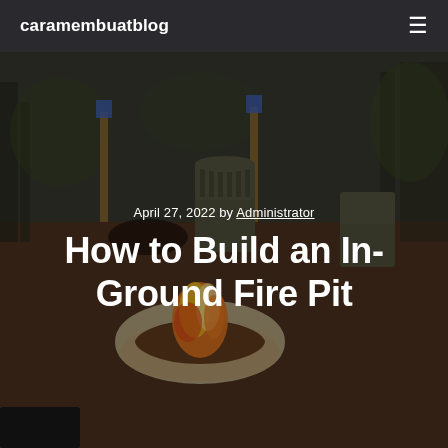caramembuatblog
[Figure (photo): Outdoor backyard fire pit scene with a circular stone-edged in-ground fire pit burning with flames, surrounded by wood chip mulch, adirondack chairs, blue tiki torches, and bare trees in the background. The image is darkened with an overlay.]
April 27, 2022 by Administrator
How to Build an In-Ground Fire Pit